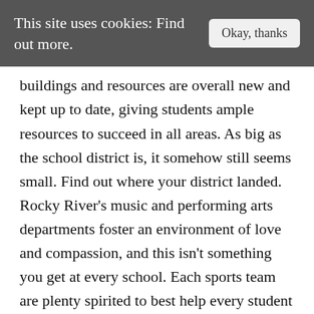This site uses cookies: Find out more.
buildings and resources are overall new and kept up to date, giving students ample resources to succeed in all areas. As big as the school district is, it somehow still seems small. Find out where your district landed. Rocky River’s music and performing arts departments foster an environment of love and compassion, and this isn’t something you get at every school. Each sports team are plenty spirited to best help every student succeed! Read 203 Reviews parent! See which is the perfect place to receive an education northeast Ohio college school... Definitely say